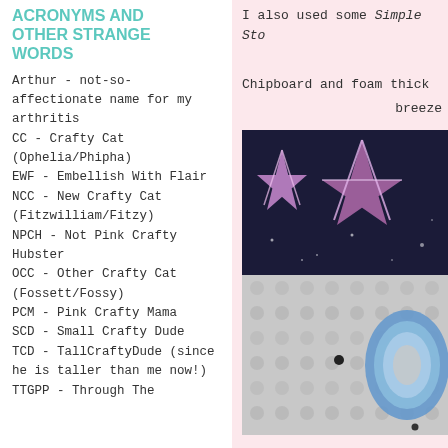ACRONYMS AND OTHER STRANGE WORDS
Arthur - not-so-affectionate name for my arthritis
CC - Crafty Cat (Ophelia/Phipha)
EWF - Embellish With Flair
NCC - New Crafty Cat (Fitzwilliam/Fitzy)
NPCH - Not Pink Crafty Hubster
OCC - Other Crafty Cat (Fossett/Fossy)
PCM - Pink Crafty Mama
SCD - Small Crafty Dude
TCD - TallCraftyDude (since he is taller than me now!)
TTGPP - Through The...
I also used some Simple Sto
Chipboard and foam thick
breeze
[Figure (photo): Photo showing purple/pink glitter star shapes on black background (top) and blue layered foam/chipboard shapes on a grey dotted background (bottom)]